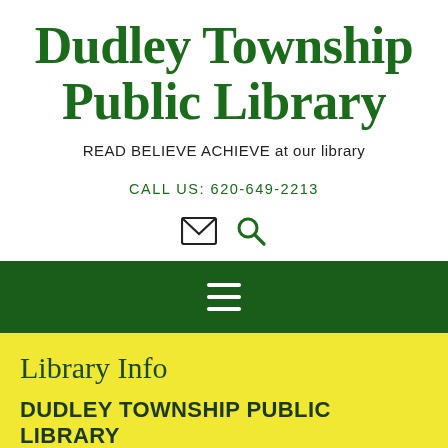Dudley Township Public Library
READ BELIEVE ACHIEVE at our library
CALL US: 620-649-2213
[Figure (infographic): Email envelope icon and search magnifying glass icon in green]
[Figure (infographic): Hamburger menu icon (three white horizontal lines) on dark green navigation bar]
Library Info
DUDLEY TOWNSHIP PUBLIC LIBRARY
Hours of operation: